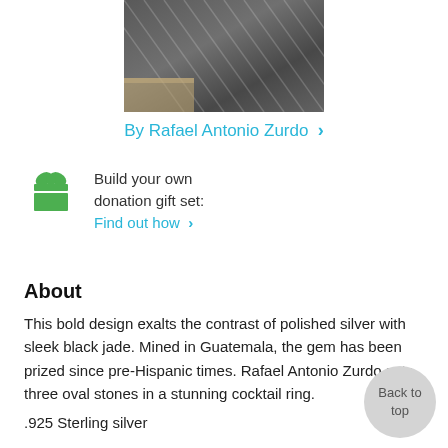[Figure (photo): Partial photo of a person wearing a dark striped shirt or jacket, cropped to show torso/arm area]
By Rafael Antonio Zurdo ›
Build your own donation gift set: Find out how ›
About
This bold design exalts the contrast of polished silver with sleek black jade. Mined in Guatemala, the gem has been prized since pre-Hispanic times. Rafael Antonio Zurdo sets three oval stones in a stunning cocktail ring.
.925 Sterling silver